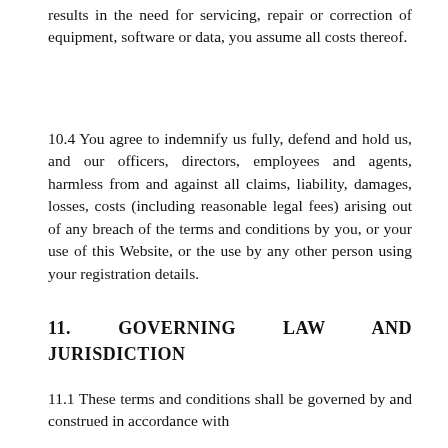results in the need for servicing, repair or correction of equipment, software or data, you assume all costs thereof.
10.4 You agree to indemnify us fully, defend and hold us, and our officers, directors, employees and agents, harmless from and against all claims, liability, damages, losses, costs (including reasonable legal fees) arising out of any breach of the terms and conditions by you, or your use of this Website, or the use by any other person using your registration details.
11. GOVERNING LAW AND JURISDICTION
11.1 These terms and conditions shall be governed by and construed in accordance with